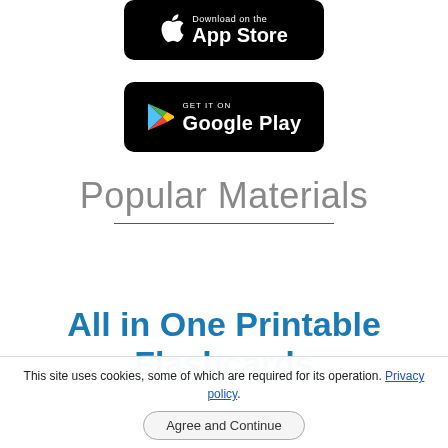[Figure (logo): Download on the App Store badge — black rounded rectangle with Apple logo and 'Download on the App Store' text]
[Figure (logo): Get it on Google Play badge — black rounded rectangle with Google Play triangle logo and 'GET IT ON Google Play' text]
Popular Materials
All in One Printable Flashcards
This site uses cookies, some of which are required for its operation. Privacy policy.
Agree and Continue